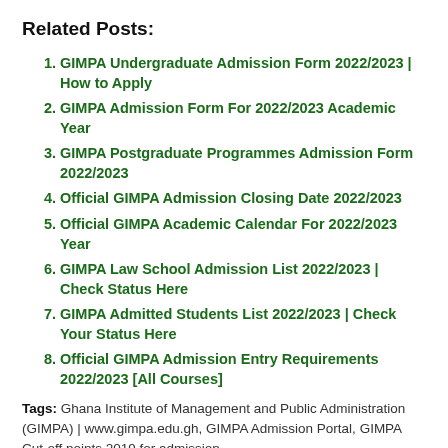Related Posts:
GIMPA Undergraduate Admission Form 2022/2023 | How to Apply
GIMPA Admission Form For 2022/2023 Academic Year
GIMPA Postgraduate Programmes Admission Form 2022/2023
Official GIMPA Admission Closing Date 2022/2023
Official GIMPA Academic Calendar For 2022/2023 Year
GIMPA Law School Admission List 2022/2023 | Check Status Here
GIMPA Admitted Students List 2022/2023 | Check Your Status Here
Official GIMPA Admission Entry Requirements 2022/2023 [All Courses]
Tags: Ghana Institute of Management and Public Administration (GIMPA) | www.gimpa.edu.gh, GIMPA Admission Portal, GIMPA Cut-off points 2019 for admission